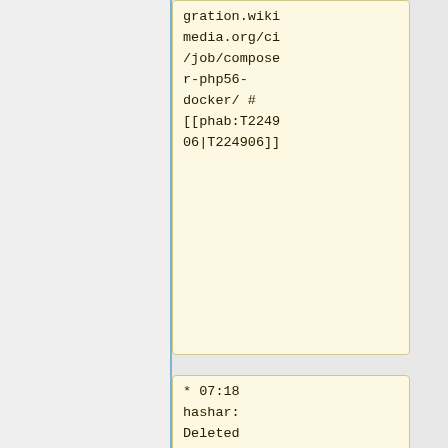gration.wikimedia.org/ci/job/composer-php56-docker/ #[[phab:T224906|T224906]]
* 07:18 hashar: Deleted last php5.6 job hurrah and thanks James ! https://integration.wikimedia.org/ci/job/composer-php56-docker/